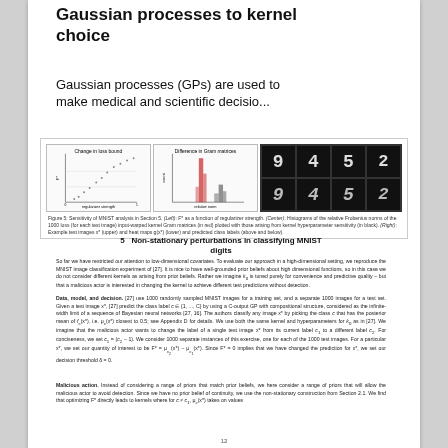Gaussian processes to kernel choice
Gaussian processes (GPs) are used to make medical and scientific decisio...
[Figure (infographic): Figure 5: Sensitivity of MNIST analysis in Section 5. (Left): F* as a function of regularizer strength. (Center): Histograms of the relative Frobenius norms of the 1000 loss (for each test image) input-warped kernel Gram matrices (in red) plotted with those arising from kernel hyperparameter sensitivity (in black). (Right): Example test images x* (upper) and heat maps g(x*) (lower) and predicted class labels (above and below).]
Figure 5: Sensitivity of MNIST analysis in Section 5. (Left): F* as a function of regularizer strength. (Center): Histograms of the relative Frobenius norms of the 1000 loss (for each test image) input-warped kernel Gram matrices (in red) plotted with those arising from kernel hyperparameter sensitivity (in black). (Right): Example test images x* (upper) and heat maps g(x*) (lower) and predicted class labels (above and below).
5 Non-stationary perturbations in classifying MNIST digits
So far we have restricted our attention to low-dimensional covariates. To evaluate our approach in a high-dimensional setting, we reproduce the MNIST image classification experiment of [27]. It is nice to have well-grounded prior beliefs about high dimensional functions, so in this case we do not consider different kernels as arising from prior beliefs. Rather we imagine k_0 is tuned purely for convenience and predictive quality – but that a malicious actor is interested in changing the kernel to achieve different test predictions without detection.
Data, model, and decision. [27] use 1000 randomly sampled MNIST images for a training set, and a separate 1000 images for a test set. Given a test image x*, [27] predict the class label c ∈ {1, ..., C} by using a C-output GP with compositional structure, considered as the infinite-width limit of a sequence of Bayesian neural networks [27, 16]. The authors classify any image x* by picking the class c that has the posterior mean of f_c(x*), i.e. μ_c(x*) closest to 0.5; see Appendix D for details. We use both the same kernel and hyperparameters for k_0 as in [27]. We imagine that the malicious actor wants to change the label of a single test image x* from its current label c_1 to a different label c_2. For conciseness, we set c_1 = (c_2 - 1). We consider 1000 separate instances of this exercise, one for each of the 1000 test images. For a particular x*, we set our quantity of interest to be F* = μ_c2(x*) - μ_c1(x*). Since F* = 0 implies that we have changed the prediction for x*, we set our decision threshold δ = 0.
Malicious action. Instead of considering a range of priors that match prior beliefs, we here consider a range of priors that will allow the malicious actor to avoid detection. Since we have no prior belief of continuity, we use the non-stationary construction from Section 2.1. We find that optimizing F* directly leads to kernels where for c ≠ c_1, μ_c(x*) takes on values